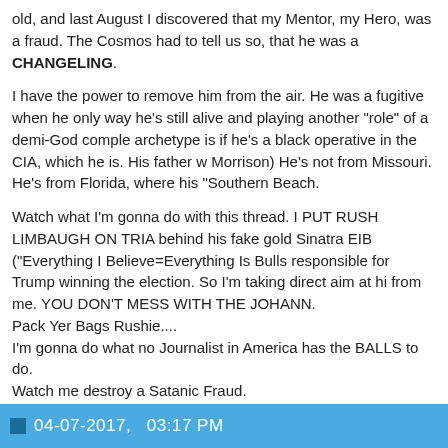old, and last August I discovered that my Mentor, my Hero, was a fraud. The Cosmos had to tell us so, that he was a CHANGELING.

I have the power to remove him from the air. He was a fugitive when he ... only way he's still alive and playing another "role" of a demi-God comple... archetype is if he's a black operative in the CIA, which he is. His father w... Morrison) He's not from Missouri. He's from Florida, where his "Southern... Beach.

Watch what I'm gonna do with this thread. I PUT RUSH LIMBAUGH ON TRIA... behind his fake gold Sinatra EIB ("Everything I Believe=Everything Is Bulls... responsible for Trump winning the election. So I'm taking direct aim at hi... from me. YOU DON'T MESS WITH THE JOHANN.
Pack Yer Bags Rushie....
I'm gonna do what no Journalist in America has the BALLS to do.
Watch me destroy a Satanic Fraud.
Last edited by Johann; 04-07-2017 at 02:45 PM.
"Set the controls for the heart of the Sun" - Pink Floyd
04-07-2017,   03:17 PM